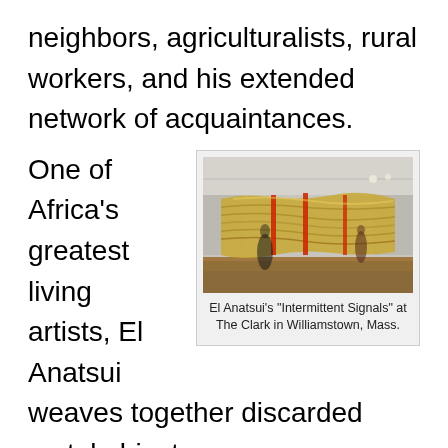neighbors, agriculturalists, rural workers, and his extended network of acquaintances.
One of Africa's greatest living artists, El Anatsui weaves together discarded metal objects to create large-scale sculptures that demonstate a fascinating interplay of colors and
[Figure (photo): Gallery installation photo of El Anatsui's large textile-like metalwork sculpture 'Intermittent Signals' hanging in a museum gallery at The Clark in Williamstown, Mass. Two blurred figures stand near the massive golden shimmering sculpture.]
El Anatsui's "Intermittent Signals" at The Clark in Williamstown, Mass.